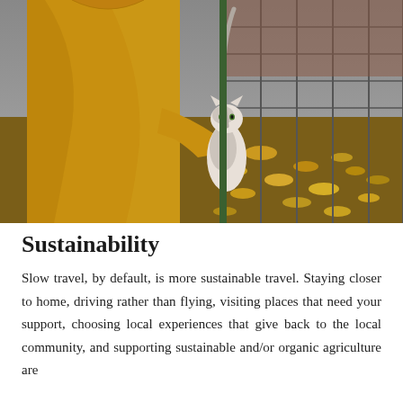[Figure (photo): A person wearing a bright yellow rain jacket holds or pets a gray and white cat standing on a metal wire fence. The ground is covered with fallen yellow and orange autumn leaves. A brick building and wire fencing are visible in the background.]
Sustainability
Slow travel, by default, is more sustainable travel. Staying closer to home, driving rather than flying, visiting places that need your support, choosing local experiences that give back to the local community, and supporting sustainable and/or organic agriculture are